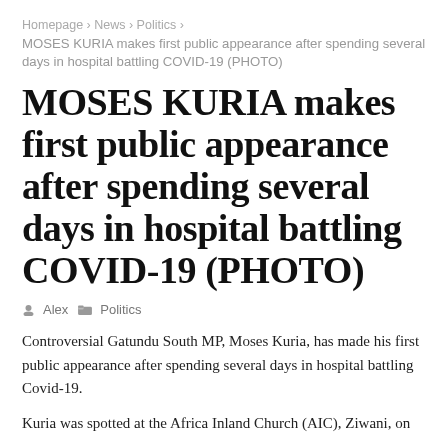Homepage › News › Politics ›
MOSES KURIA makes first public appearance after spending several days in hospital battling COVID-19 (PHOTO)
MOSES KURIA makes first public appearance after spending several days in hospital battling COVID-19 (PHOTO)
Alex   Politics
Controversial Gatundu South MP, Moses Kuria, has made his first public appearance after spending several days in hospital battling Covid-19.
Kuria was spotted at the Africa Inland Church (AIC), Ziwani, on